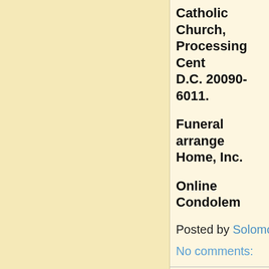Catholic Church, Processing Center, D.C. 20090-6011.
Funeral arrangements Home, Inc.
Online Condolem
Posted by Solomo
No comments:
Potter Co August 15